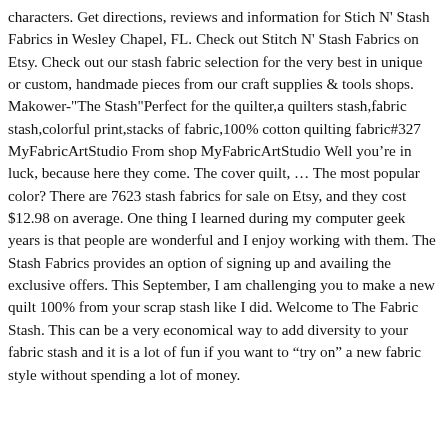characters. Get directions, reviews and information for Stich N' Stash Fabrics in Wesley Chapel, FL. Check out Stitch N' Stash Fabrics on Etsy. Check out our stash fabric selection for the very best in unique or custom, handmade pieces from our craft supplies & tools shops. Makower-"The Stash"Perfect for the quilter,a quilters stash,fabric stash,colorful print,stacks of fabric,100% cotton quilting fabric#327 MyFabricArtStudio From shop MyFabricArtStudio Well you're in luck, because here they come. The cover quilt, ... The most popular color? There are 7623 stash fabrics for sale on Etsy, and they cost $12.98 on average. One thing I learned during my computer geek years is that people are wonderful and I enjoy working with them. The Stash Fabrics provides an option of signing up and availing the exclusive offers. This September, I am challenging you to make a new quilt 100% from your scrap stash like I did. Welcome to The Fabric Stash. This can be a very economical way to add diversity to your fabric stash and it is a lot of fun if you want to “try on” a new fabric style without spending a lot of money.